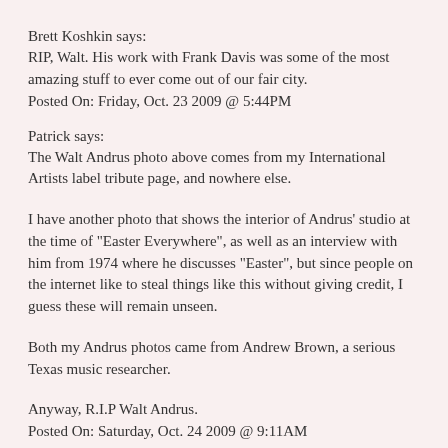Brett Koshkin says:
RIP, Walt. His work with Frank Davis was some of the most amazing stuff to ever come out of our fair city.
Posted On: Friday, Oct. 23 2009 @ 5:44PM
Patrick says:
The Walt Andrus photo above comes from my International Artists label tribute page, and nowhere else.

I have another photo that shows the interior of Andrus' studio at the time of "Easter Everywhere", as well as an interview with him from 1974 where he discusses "Easter", but since people on the internet like to steal things like this without giving credit, I guess these will remain unseen.

Both my Andrus photos came from Andrew Brown, a serious Texas music researcher.

Anyway, R.I.P Walt Andrus.
Posted On: Saturday, Oct. 24 2009 @ 9:11AM